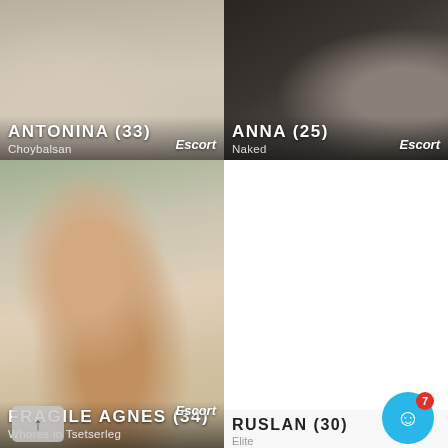[Figure (photo): Profile card for Antonina (33), Choybalsan, Escort. Photo shows legs near chair.]
[Figure (photo): Profile card for Anna (25), Naked, Escort. Dark photo showing legs.]
[Figure (photo): Profile card for Fragile Agnes (34), Whores in Tsetserleg. Large photo of woman.]
[Figure (photo): Profile card for Ruslan (30), Elite. White/light background card.]